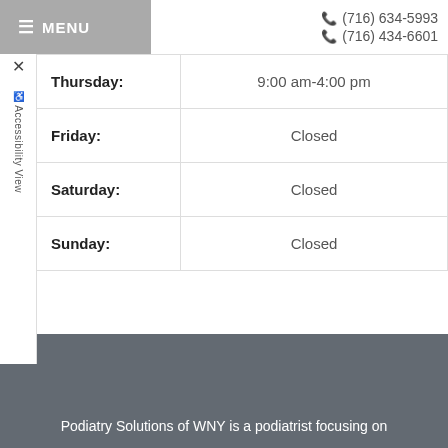MENU  ☎ (716) 634-5993  ☎ (716) 434-6601
| Day | Hours |
| --- | --- |
| Thursday: | 9:00 am-4:00 pm |
| Friday: | Closed |
| Saturday: | Closed |
| Sunday: | Closed |
Podiatry Solutions of WNY is a podiatrist focusing on